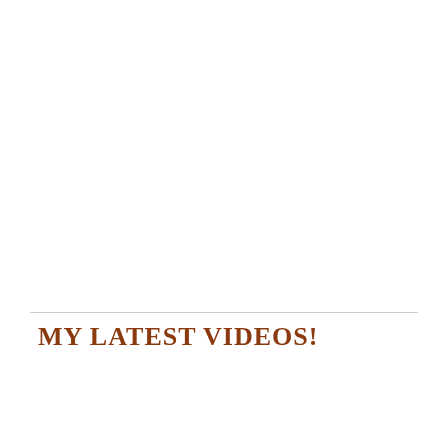MY LATEST VIDEOS!
[Figure (screenshot): Video player area with dark background, partially visible, with an advertisement bar overlaid at the bottom showing 'Pack the Perfect School Lunch' from Wegmans with play/close controls and navigation arrow.]